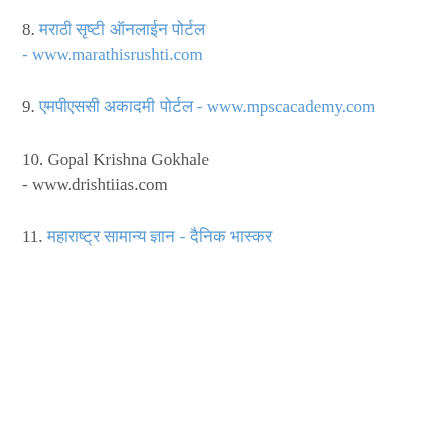8. मराठी सृष्टी ऑनलाईन पोर्टल - www.marathisrushti.com
9. एमपीएससी अकादमी पोर्टल - www.mpscacademy.com
10. Gopal Krishna Gokhale - www.drishtiias.com
11. महाराष्ट्र सामान्य ज्ञान - दैनिक भास्कर